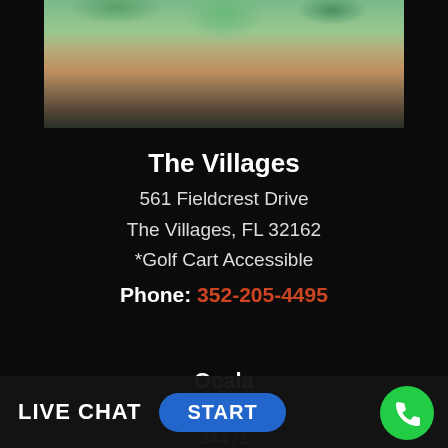[Figure (photo): Aerial view of residential neighborhood with houses, trees, and a body of water in the background]
The Villages
561 Fieldcrest Drive
The Villages, FL 32162
*Golf Cart Accessible
Phone: 352-205-4495
Ocala
th Avenue,
34471
LIVE CHAT   START